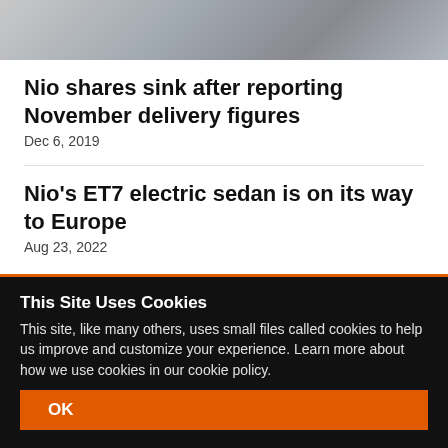[Figure (photo): Partial view of a metallic or grey automotive/logo image at the top of the page]
Nio shares sink after reporting November delivery figures
Dec 6, 2019
Nio’s ET7 electric sedan is on its way to Europe
Aug 23, 2022
This Site Uses Cookies
This site, like many others, uses small files called cookies to help us improve and customize your experience. Learn more about how we use cookies in our cookie policy.